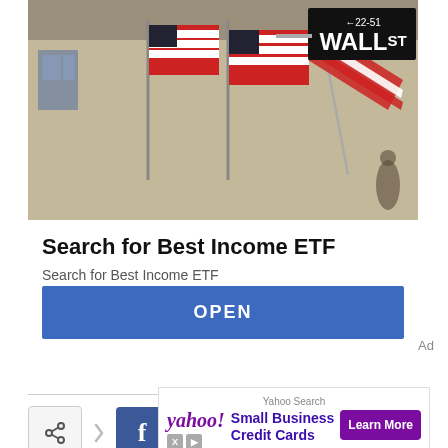[Figure (photo): Wall Street street sign with American flags in the background, in front of a building]
Search for Best Income ETF
Search for Best Income ETF
OPEN
Ad
[Figure (infographic): Social share buttons row: share icon, chevron, Facebook (f), Twitter (bird), Pinterest (p), WhatsApp (phone)]
[Figure (infographic): Yahoo Search ad: Small Business Credit Cards — Learn More button, yahoo! logo, X and D icons at bottom left]